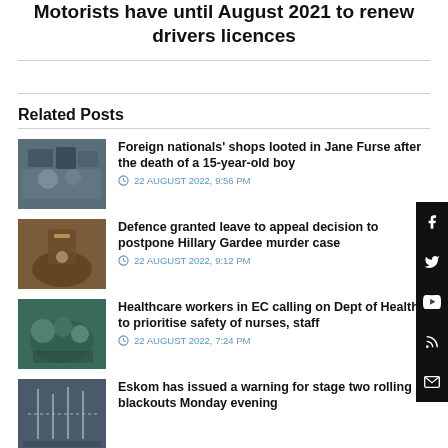Motorists have until August 2021 to renew drivers licences
Related Posts
Foreign nationals' shops looted in Jane Furse after the death of a 15-year-old boy — 22 AUGUST 2022, 9:56 PM
Defence granted leave to appeal decision to postpone Hillary Gardee murder case — 22 AUGUST 2022, 9:12 PM
Healthcare workers in EC calling on Dept of Health to prioritise safety of nurses, staff — 22 AUGUST 2022, 7:24 PM
Eskom has issued a warning for stage two rolling blackouts Monday evening